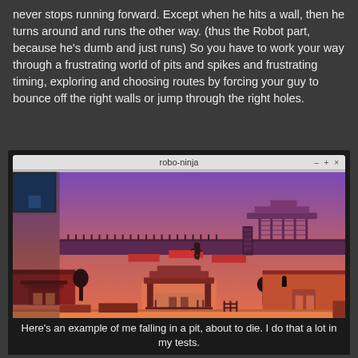never stops running forward. Except when he hits a wall, then he turns around and runs the other way. (thus the Robot part, because he's dumb and just runs) So you have to work your way through a frustrating world of pits and spikes and frustrating timing, exploring and choosing routes by forcing your guy to bounce off the right walls or jump through the right holes.
[Figure (screenshot): Screenshot of a game called 'robo-ninja' showing a 2D platformer with a Japanese/ninja theme. The screen shows a purple and pink/orange gradient sky background with silhouetted Japanese-style buildings and platforms. A small ninja character is visible in the middle of the screen, appearing to fall into a pit between red platforms. There is a small blue square in the upper left corner (minimap). The window has a title bar reading 'robo-ninja' with minimize/maximize/close buttons.]
Here's an example of me falling in a pit, about to die. I do that a lot in my tests.